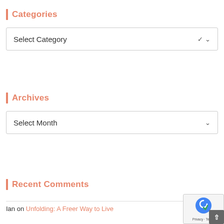Categories
[Figure (screenshot): Dropdown widget labeled 'Select Category' with chevron arrow]
Archives
[Figure (screenshot): Dropdown widget labeled 'Select Month' with chevron arrow]
Recent Comments
Ian on Unfolding: A Freer Way to Live